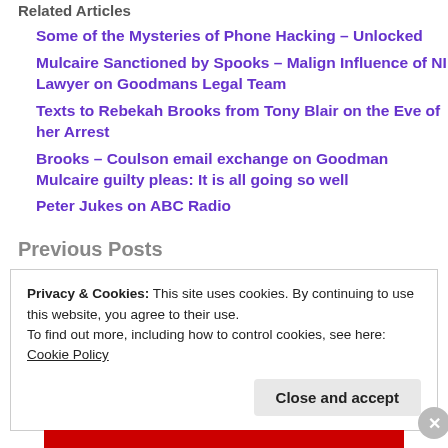Related Articles
Some of the Mysteries of Phone Hacking – Unlocked
Mulcaire Sanctioned by Spooks – Malign Influence of NI Lawyer on Goodmans Legal Team
Texts to Rebekah Brooks from Tony Blair on the Eve of her Arrest
Brooks – Coulson email exchange on Goodman Mulcaire guilty pleas: It is all going so well
Peter Jukes on ABC Radio
Previous Posts
Privacy & Cookies: This site uses cookies. By continuing to use this website, you agree to their use.
To find out more, including how to control cookies, see here: Cookie Policy
Close and accept